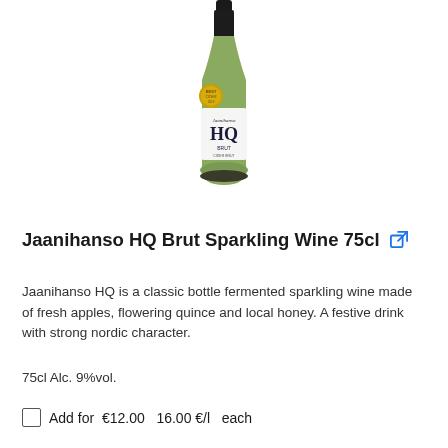[Figure (photo): A bottle of Jaanihanso HQ Brut sparkling wine with a dark green bottle, gold award medal sticker, and white label with 'Jaanihanso HQ Brut' text.]
Jaanihanso HQ Brut Sparkling Wine 75cl
Jaanihanso HQ is a classic bottle fermented sparkling wine made of fresh apples, flowering quince and local honey. A festive drink with strong nordic character.
75cl Alc. 9%vol.
Add for  €12.00  16.00 €/l  each